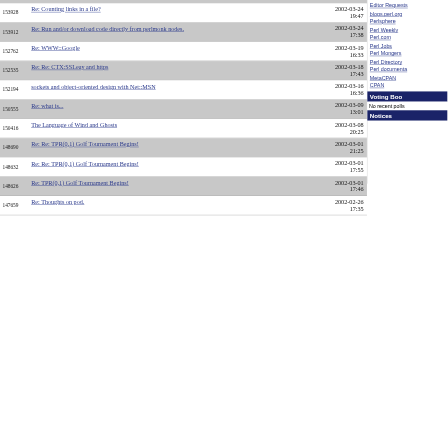153928 Re: Counting links in a file? 2002-03-24 19:47
153912 Re: Run and/or download code directly from perlmonk nodes. 2002-03-24 17:38
152762 Re: WWW::Google 2002-03-19 16:33
152535 Re: Re: CTX:SSLeay and https 2002-03-18 17:43
152194 sockets and object-oriented design with Net::MSN 2002-03-16 16:36
150555 Re: what is... 2002-03-09 13:01
150416 The Language of Wind and Ghosts 2002-03-08 20:25
148690 Re: Re: TPR(0,1) Golf Tournament Begins! 2002-03-01 21:25
148632 Re: Re: TPR(0,1) Golf Tournament Begins! 2002-03-01 17:55
148626 Re: TPR(0,1) Golf Tournament Begins! 2002-03-01 17:46
147659 Re: Thoughts on pod. 2002-02-26 17:35
Editor Requests
blogs.perl.org
Perlsphere
Perl Weekly
Perl.com
Perl Jobs
Perl Mongers
Perl Directory
Perl documenta
MetaCPAN
CPAN
Voting Boo
No recent polls
Notices